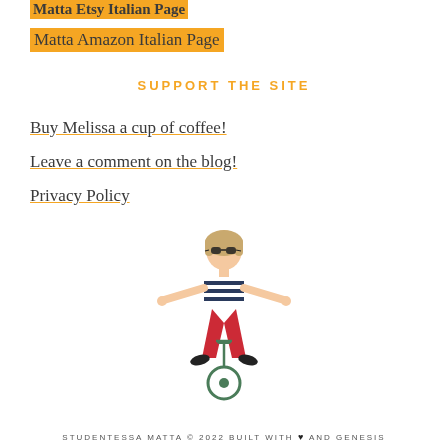Matta Etsy Italian Page
Matta Amazon Italian Page
SUPPORT THE SITE
Buy Melissa a cup of coffee!
Leave a comment on the blog!
Privacy Policy
[Figure (illustration): Illustration of a woman with short blonde hair wearing sunglasses, a navy and white striped top, red pants, riding a bicycle with arms wide open]
STUDENTESSA MATTA © 2022 BUILT WITH ♥ AND GENESIS